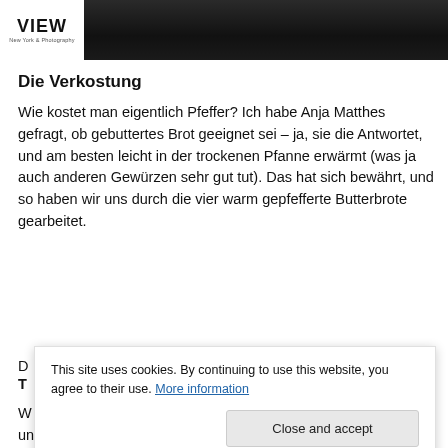[Figure (photo): Website header with VIEW logo on white background on the left and a dark/black photographic image on the right]
Die Verkostung
Wie kostet man eigentlich Pfeffer? Ich habe Anja Matthes gefragt, ob gebuttertes Brot geeignet sei – ja, sie die Antwortet, und am besten leicht in der trockenen Pfanne erwärmt (was ja auch anderen Gewürzen sehr gut tut). Das hat sich bewährt, und so haben wir uns durch die vier warm gepfefferte Butterbrote gearbeitet.
D...
T...
W... k...
und eine krautige Note Richtung Lorbeer hinzu. Auf der
This site uses cookies. By continuing to use this website, you agree to their use. More information

Close and accept